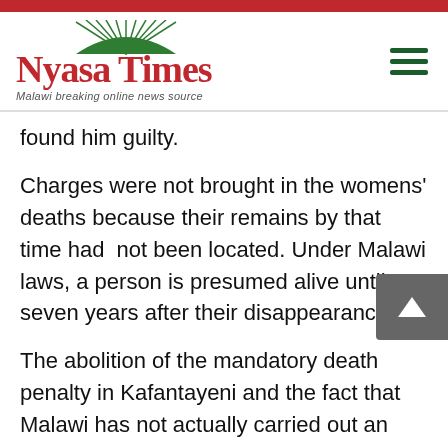Nyasa Times – Malawi breaking online news source
found him guilty.
Charges were not brought in the womens' deaths because their remains by that time had  not been located. Under Malawi laws, a person is presumed alive until seven years after their disappearance.
The abolition of the mandatory death penalty in Kafantayeni and the fact that Malawi has not actually carried out an execution since 1992 puts the country in good stead to abolish the death penalty.
Countries like Malawi that have made the transition to democracy increasingly see abolition of the death penalty as a necessary step to signal their commitment to human rights.